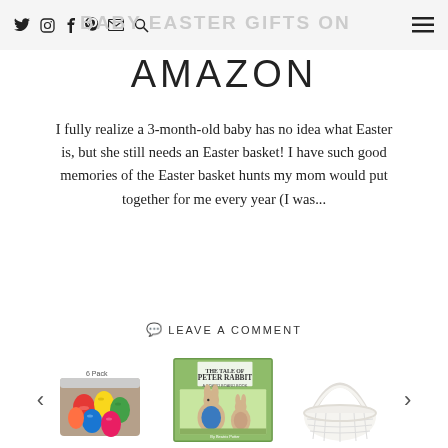BABY EASTER GIFTS ON AMAZON
AMAZON
I fully realize a 3-month-old baby has no idea what Easter is, but she still needs an Easter basket! I have such good memories of the Easter basket hunts my mom would put together for me every year (I was...
VIEW POST
LEAVE A COMMENT
[Figure (photo): Carousel of product images: colorful Easter eggs in a bag, The Tale of Peter Rabbit book cover, white wicker Easter basket with handle]
[Figure (photo): Colorful wooden/plastic Easter eggs in a burlap bag, labeled 6 Pack]
[Figure (photo): The Tale of Peter Rabbit board book cover with rabbit characters]
[Figure (photo): White wicker Easter basket with tall arched handle]